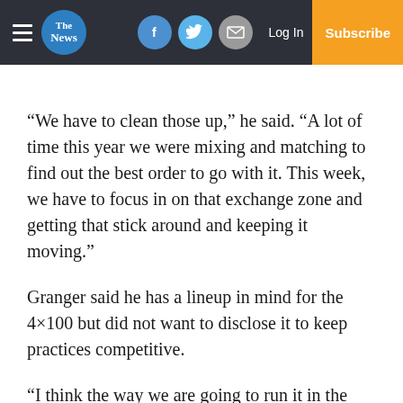The News — Navigation bar with hamburger menu, logo, Facebook, Twitter, Email icons, Log In, Subscribe
“We have to clean those up,” he said. “A lot of time this year we were mixing and matching to find out the best order to go with it. This week, we have to focus in on that exchange zone and getting that stick around and keeping it moving.”
Granger said he has a lineup in mind for the 4×100 but did not want to disclose it to keep practices competitive.
“I think the way we are going to run it in the regional meet is going to be a good way for us to advance to